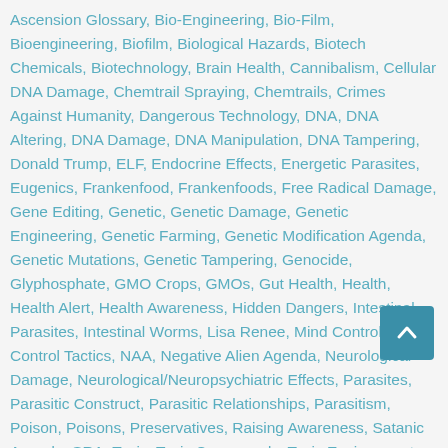Ascension Glossary, Bio-Engineering, Bio-Film, Bioengineering, Biofilm, Biological Hazards, Biotech Chemicals, Biotechnology, Brain Health, Cannibalism, Cellular DNA Damage, Chemtrail Spraying, Chemtrails, Crimes Against Humanity, Dangerous Technology, DNA, DNA Altering, DNA Damage, DNA Manipulation, DNA Tampering, Donald Trump, ELF, Endocrine Effects, Energetic Parasites, Eugenics, Frankenfood, Frankenfoods, Free Radical Damage, Gene Editing, Genetic, Genetic Damage, Genetic Engineering, Genetic Farming, Genetic Modification Agenda, Genetic Mutations, Genetic Tampering, Genocide, Glyphosphate, GMO Crops, GMOs, Gut Health, Health, Health Alert, Health Awareness, Hidden Dangers, Intestinal Parasites, Intestinal Worms, Lisa Renee, Mind Control, Mind Control Tactics, NAA, Negative Alien Agenda, Neurological Damage, Neurological/Neuropsychiatric Effects, Parasites, Parasitic Construct, Parasitic Relationships, Parasitism, Poison, Poisons, Preservatives, Raising Awareness, Satanic Agenda, SRA, Toxic, Toxic Compounds, Toxic Environment, Toxic
[Figure (other): Scroll-to-top button: dark teal square with upward arrow icon]